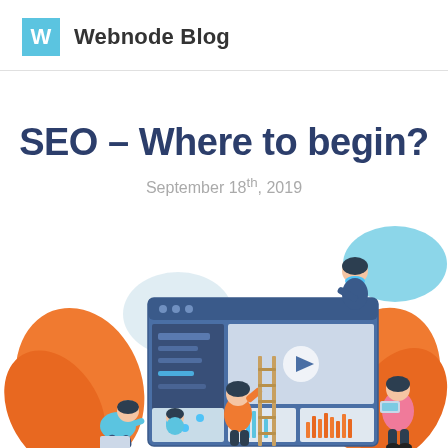Webnode Blog
SEO – Where to begin?
September 18th, 2019
[Figure (illustration): Flat style illustration of people working on a large website/dashboard interface. Shows figures climbing ladders, interacting with a screen showing a video player, analytics charts including bar charts and a map. Orange and teal leaf/plant decorative elements on the sides. Blue blob shapes in background. People shown in various poses including one holding a tablet, one in orange climbing a ladder, one seated at bottom left.]